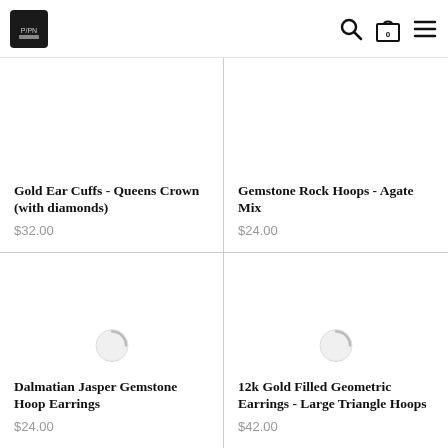Store navigation header with logo, search, bag (0), and menu icons
Gold Ear Cuffs - Queens Crown (with diamonds)
$32.00
Gemstone Rock Hoops - Agate Mix
$24.00
[Figure (illustration): Loading spinner placeholder for product image]
Dalmatian Jasper Gemstone Hoop Earrings
$24.00
[Figure (illustration): Loading spinner placeholder for product image]
12k Gold Filled Geometric Earrings - Large Triangle Hoops
$42.00